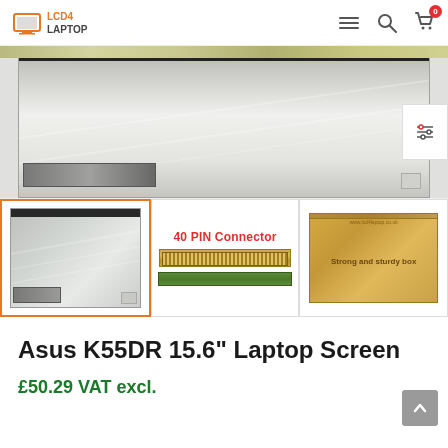LCD4LAPTOP — navigation bar with menu, search, and cart icons
[Figure (photo): Main product image showing a laptop LCD screen panel, partially cropped, with a filter/adjustment overlay icon on the right side]
[Figure (photo): Thumbnail 1 (active/selected, orange border): laptop LCD screen panel]
[Figure (photo): Thumbnail 2: 40 PIN Connector — gold connector with green PCB strip]
[Figure (photo): Thumbnail 3: Strong and sturdy box — gold cardboard packaging box]
Asus K55DR 15.6" Laptop Screen
£50.29 VAT excl.